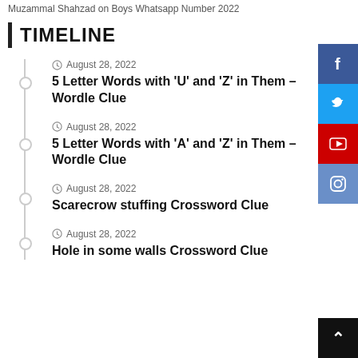Muzammal Shahzad on Boys Whatsapp Number 2022
TIMELINE
August 28, 2022 — 5 Letter Words with 'U' and 'Z' in Them – Wordle Clue
August 28, 2022 — 5 Letter Words with 'A' and 'Z' in Them – Wordle Clue
August 28, 2022 — Scarecrow stuffing Crossword Clue
August 28, 2022 — Hole in some walls Crossword Clue